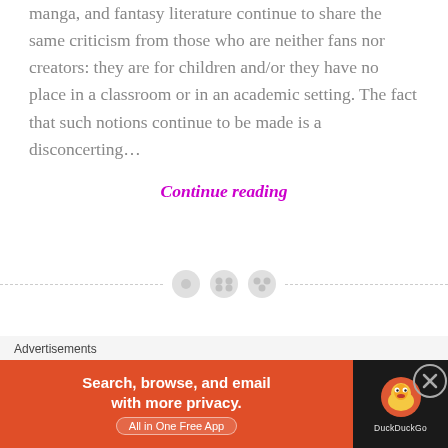manga, and fantasy literature continue to share the same criticism from those who are neither fans nor creators: they are for children and/or they have no place in a classroom or in an academic setting. The fact that such notions continue to be made is a disconcerting…
Continue reading
[Figure (other): Horizontal dashed divider line with three circular icon buttons in the center]
What We Can All Learn From
Advertisements
[Figure (other): DuckDuckGo advertisement banner: orange left panel reading 'Search, browse, and email with more privacy. All in One Free App', black right panel with DuckDuckGo duck logo and wordmark]